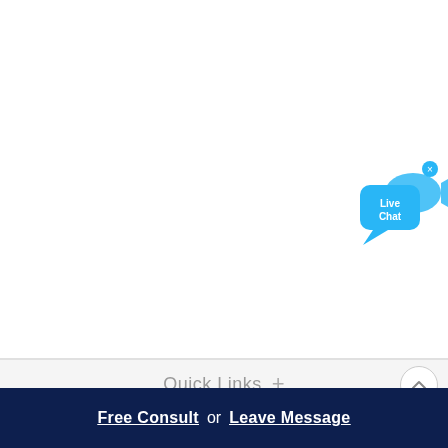[Figure (illustration): Live Chat button widget — blue speech bubble with 'Live Chat' text and a small fish icon, with an X close button in the top right corner]
Quick Links +
Free Consult  or  Leave Message